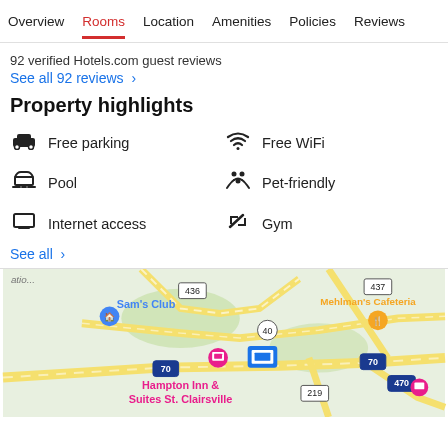Overview  Rooms  Location  Amenities  Policies  Reviews
92 verified Hotels.com guest reviews
See all 92 reviews  >
Property highlights
Free parking
Free WiFi
Pool
Pet-friendly
Internet access
Gym
See all  >
[Figure (map): Google Maps snippet showing Hampton Inn & Suites St. Clairsville area with roads 40, 70, 219, 436, 437, 470 and nearby landmarks Sam's Club and Mehlman's Cafeteria]